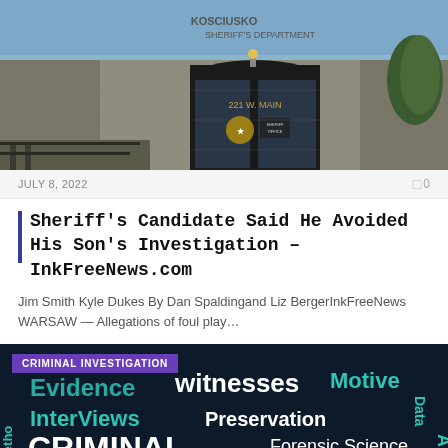[Figure (photo): Exterior of the Kosciusko County Sheriff's Department building at 221 W. Main, showing a concrete facade with glass entrance doors and a badge emblem]
JULY 8, 2022
0
Sheriff's Candidate Said He Avoided His Son's Investigation – InkFreeNews.com
Jim Smith Kyle Dukes By Dan Spaldingand Liz BergerInkFreeNews WARSAW — Allegations of foul play…
[Figure (photo): Criminal Investigation word cloud image on dark background with teal and white text showing words like Evidence, Witnesses, Motive, Interviews, Preservation, Criminal, Forensic Science, Informants, Data, Methods. A purple badge in upper left reads CRIMINAL INVESTIGATION.]